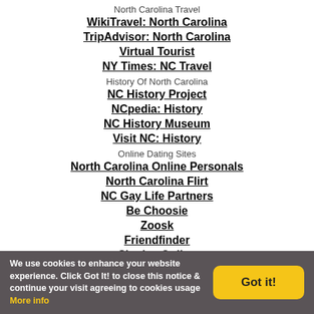North Carolina Travel
WikiTravel: North Carolina
TripAdvisor: North Carolina
Virtual Tourist
NY Times: NC Travel
History Of North Carolina
NC History Project
NCpedia: History
NC History Museum
Visit NC: History
Online Dating Sites
North Carolina Online Personals
North Carolina Flirt
NC Gay Life Partners
Be Choosie
Zoosk
Friendfinder
Singles Online
Local Personals Online
Dating Buddies
Sweet And Casual
We use cookies to enhance your website experience. Click Got It! to close this notice & continue your visit agreeing to cookies usage More info
Got it!